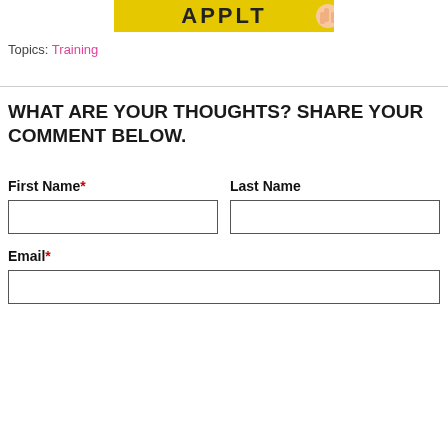[Figure (illustration): Partial banner image with yellow background showing text 'APPLT' (cropped) and a hand gesture on the right side]
Topics: Training
WHAT ARE YOUR THOUGHTS? SHARE YOUR COMMENT BELOW.
First Name*
Last Name
Email*